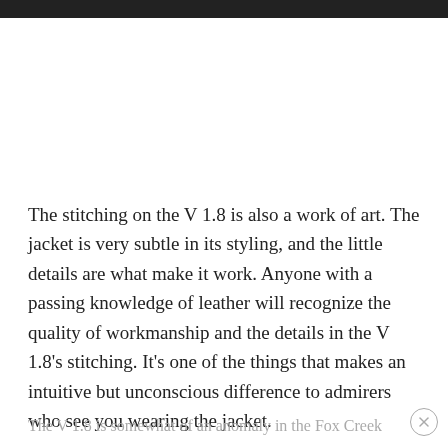The stitching on the V 1.8 is also a work of art.  The jacket is very subtle in its styling, and the little details are what make it work.  Anyone with a passing knowledge of leather will recognize the quality of workmanship and the details in the V 1.8’s stitching.  It’s one of the things that makes an intuitive but unconscious difference to admirers who see you wearing the jacket.
The V 1.8 is somewhat of an anomaly in the Fox Creek